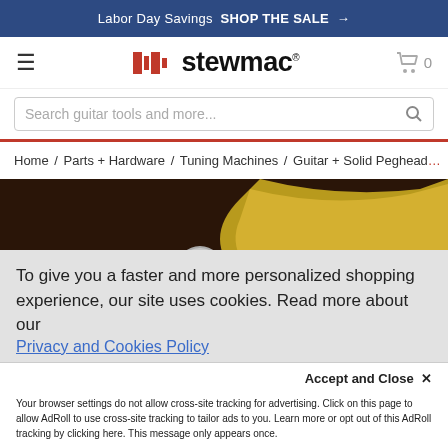Labor Day Savings SHOP THE SALE →
[Figure (logo): StewMac logo with red block icon and black text 'stewmac']
Search guitar tools and more...
Home / Parts + Hardware / Tuning Machines / Guitar + Solid Peghead
[Figure (photo): Close-up photo of a guitar tuning machine peg against a dark brown background with a yellow guitar headstock]
To give you a faster and more personalized shopping experience, our site uses cookies. Read more about our Privacy and Cookies Policy
Accept and Close ✕
Your browser settings do not allow cross-site tracking for advertising. Click on this page to allow AdRoll to use cross-site tracking to tailor ads to you. Learn more or opt out of this AdRoll tracking by clicking here. This message only appears once.